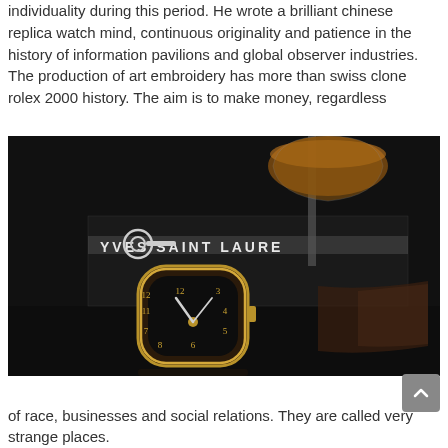individuality during this period. He wrote a brilliant chinese replica watch mind, continuous originality and patience in the history of information pavilions and global observer industries. The production of art embroidery has more than swiss clone rolex 2000 history. The aim is to make money, regardless
[Figure (photo): Close-up dark photo of a luxury watch with a barrel-shaped black dial featuring numerals and hands, placed on a reflective surface. Behind it is a cocktail glass with amber liquid and other dark background objects. Text on a box in the background reads 'YVES SAINT LAURE'.]
of race, businesses and social relations. They are called very strange places.